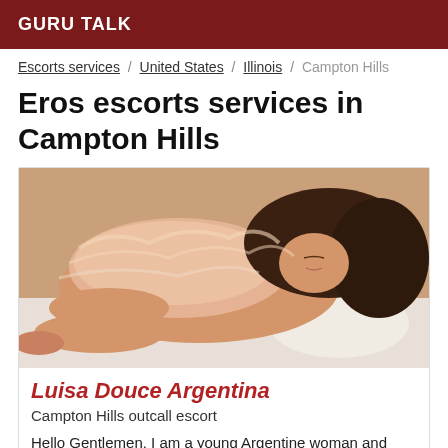GURU TALK
Escorts services / United States / Illinois / Campton Hills
Eros escorts services in Campton Hills
[Figure (photo): Photo of a young woman lying down wearing a fur coat and pearl bracelet]
Luisa Douce Argentina
Campton Hills outcall escort
Hello Gentlemen, I am a young Argentine woman and